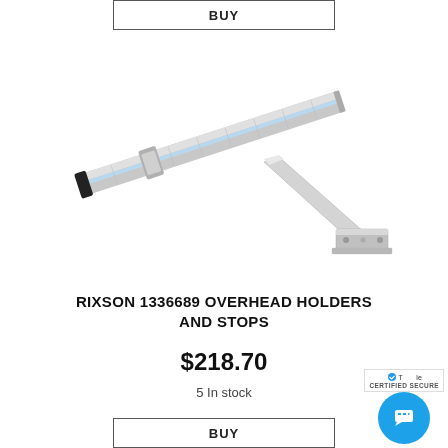BUY
[Figure (photo): A Rixson overhead holder and stop product, showing a long silver metal bar with an arm and mounting bracket, photographed on white background.]
RIXSON 1336689 OVERHEAD HOLDERS AND STOPS
$218.70
5 In stock
BUY